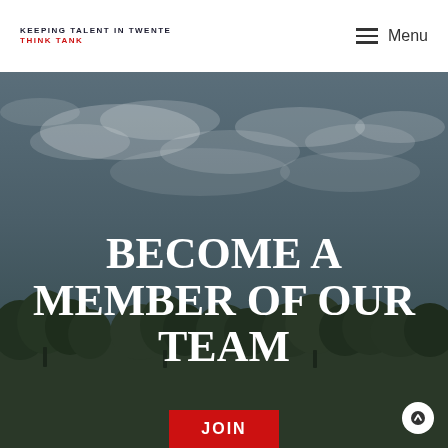KEEPING TALENT IN TWENTE THINK TANK | Menu
[Figure (photo): Outdoor landscape photo with overcast dark cloudy sky above a tree line and open green field. Large bold white text overlay reads 'BECOME A MEMBER OF OUR TEAM'. Red JOIN button partially visible at bottom center. Circular scroll-up arrow button at bottom right.]
BECOME A MEMBER OF OUR TEAM